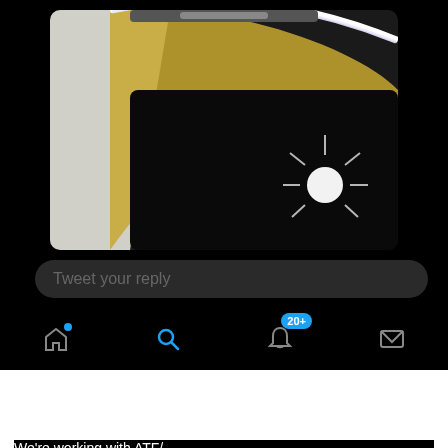[Figure (screenshot): Twitter/X app dark mode screenshot showing a camera feed image at top (security/doorbell camera view), a 'Tweet your reply' input bar, and bottom navigation with home, search, notifications (20+ badge), and messages icons.]
[Figure (screenshot): iPhone status bar showing AT&T carrier, Wi-Fi signal, 7:16 AM time, and charging battery indicator. Below is a Twitter 'Tweet' detail header with back arrow. The tweet is from US Attorney EDWI (@EDWInews) with verified badge and DOJ seal avatar. Partial tweet text visible at bottom.]
Tweet your reply
US Attorney EDWI @EDWInews
We're working with ATF/...